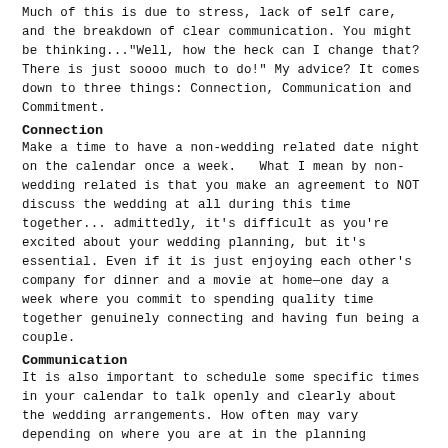Much of this is due to stress, lack of self care, and the breakdown of clear communication. You might be thinking..."Well, how the heck can I change that? There is just soooo much to do!" My advice? It comes down to three things: Connection, Communication and Commitment.
Connection
Make a time to have a non-wedding related date night on the calendar once a week.   What I mean by non-wedding related is that you make an agreement to NOT discuss the wedding at all during this time together... admittedly, it's difficult as you're excited about your wedding planning, but it's essential. Even if it is just enjoying each other's company for dinner and a movie at home—one day a week where you commit to spending quality time together genuinely connecting and having fun being a couple.
Communication
It is also important to schedule some specific times in your calendar to talk openly and clearly about the wedding arrangements. How often may vary depending on where you are at in the planning process. Once a week is great, even if it's just to touch base briefly. This is vital so that